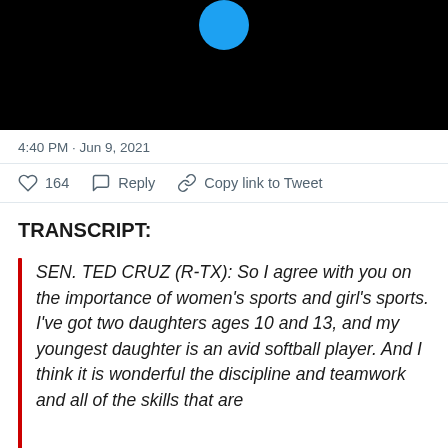[Figure (screenshot): Top portion of a Twitter/social media screenshot showing a black background with a blue circle (Twitter bird icon) at the top center]
4:40 PM · Jun 9, 2021
♡ 164   Reply   Copy link to Tweet
TRANSCRIPT:
SEN. TED CRUZ (R-TX): So I agree with you on the importance of women's sports and girl's sports. I've got two daughters ages 10 and 13, and my youngest daughter is an avid softball player. And I think it is wonderful the discipline and teamwork and all of the skills that are